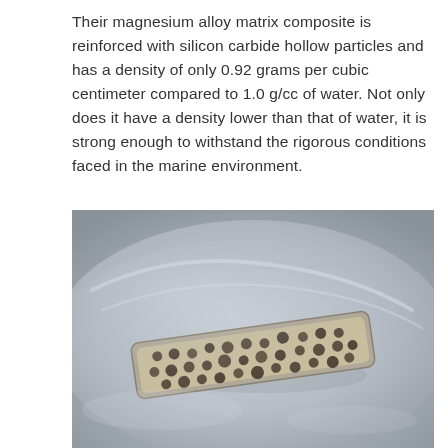Their magnesium alloy matrix composite is reinforced with silicon carbide hollow particles and has a density of only 0.92 grams per cubic centimeter compared to 1.0 g/cc of water. Not only does it have a density lower than that of water, it is strong enough to withstand the rigorous conditions faced in the marine environment.
[Figure (photo): A porous rectangular magnesium alloy composite material floating on the surface of water in a metallic bowl. The material appears light gray/beige with numerous circular holes visible across its surface, demonstrating its low density by floating on water.]